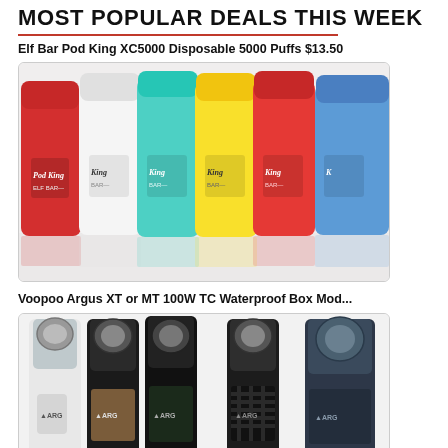MOST POPULAR DEALS THIS WEEK
Elf Bar Pod King XC5000 Disposable 5000 Puffs $13.50
[Figure (photo): Multiple Elf Bar Pod King XC5000 disposable vapes in different colors (red, white, teal, yellow, red, blue) lined up side by side showing the Pod King and Elf Bar branding.]
Voopoo Argus XT or MT 100W TC Waterproof Box Mod...
[Figure (photo): Multiple Voopoo Argus vape mod kits in different color variants (white, black/brown, black/green, carbon fiber black, dark grey/blue) lined up side by side.]